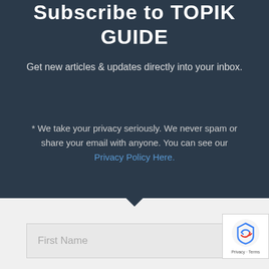Subscribe to TOPIK GUIDE
Get new articles & updates directly into your inbox.
* We take your privacy seriously. We never spam or share your email with anyone. You can see our Privacy Policy Here.
[Figure (other): Input form field with placeholder text 'First Name' on a light grey background]
[Figure (other): Google reCAPTCHA badge with icon and Privacy - Terms text]